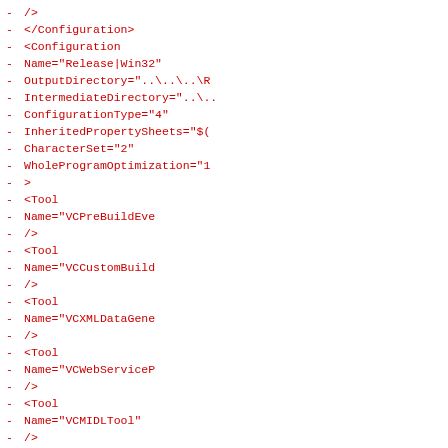code fragment showing XML configuration with Tool elements including VCPreBuildEvent, VCCustomBuild, VCXMLDataGenerator, VCWebServiceProxy, VCMIDLTool, VCCLCompilerTool with attributes